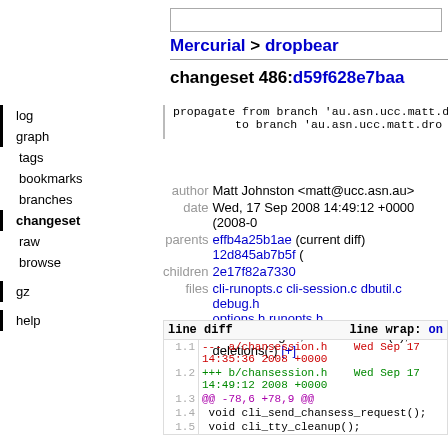Mercurial > dropbear
changeset 486:d59f628e7baa
propagate from branch 'au.asn.ucc.matt.dro
           to branch 'au.asn.ucc.matt.dro
| field | value |
| --- | --- |
| author | Matt Johnston <matt@ucc.asn.au> |
| date | Wed, 17 Sep 2008 14:49:12 +0000 (2008-0 |
| parents | effb4a25b1ae (current diff) 12d845ab7b5f ( |
| children | 2e17f82a7330 |
| files | cli-runopts.c cli-session.c dbutil.c debug.h options.h runopts.h |
| diffstat | 6 files changed, 146 insertions(+), 27 deletions(-) [+] |
log
graph
tags
bookmarks
branches
changeset
raw
browse
gz
help
| line | diff content |
| --- | --- |
| 1.1 | --- a/chansession.h    Wed Sep 17 14:35:36 2008 +0000 |
| 1.2 | +++ b/chansession.h    Wed Sep 17 14:49:12 2008 +0000 |
| 1.3 | @@ -78,6 +78,9 @@ |
| 1.4 |  void cli_send_chansess_request(); |
| 1.5 |  void cli_tty_cleanup(); |